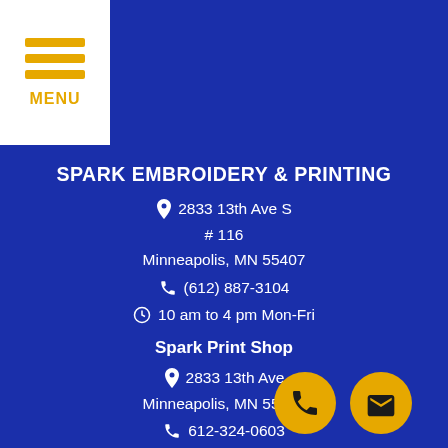[Figure (logo): Hamburger menu button with three orange bars and MENU label on white background]
SPARK EMBROIDERY & PRINTING
2833 13th Ave S
# 116
Minneapolis, MN 55407
(612) 887-3104
10 am to 4 pm Mon-Fri
Spark Print Shop
2833 13th Ave
Minneapolis, MN 55407
612-324-0603
10 am to 4 pm Mon-Fri